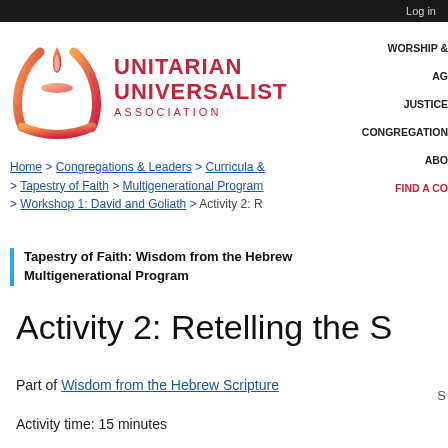Log in
[Figure (logo): Unitarian Universalist Association flame logo — gradient orange-red chalice/flame symbol with the text UNITARIAN UNIVERSALIST ASSOCIATION]
WORSHIP & | AG | JUSTICE | CONGREGATION | ABO | FIND A CO
Home > Congregations & Leaders > Curricula & > Tapestry of Faith > Multigenerational Program > Workshop 1: David and Goliath > Activity 2: R
Tapestry of Faith: Wisdom from the Hebrew Multigenerational Program
Activity 2: Retelling the S
Part of Wisdom from the Hebrew Scripture
Activity time: 15 minutes